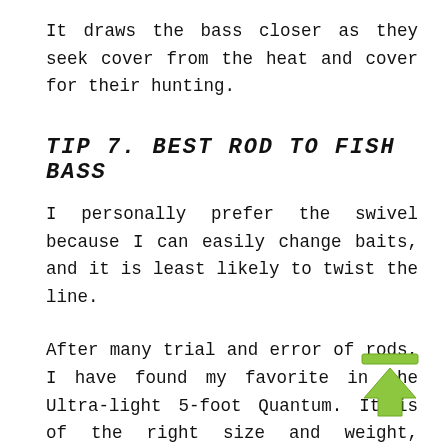It draws the bass closer as they seek cover from the heat and cover for their hunting.
TIP 7. BEST ROD TO FISH BASS
I personally prefer the swivel because I can easily change baits, and it is least likely to twist the line.
After many trial and error of rods, I have found my favorite in the Ultra-light 5-foot Quantum. It is of the right size and weight, enough that I can feel the fish.
[Figure (illustration): Green upward-pointing arrow with a horizontal bar on top, resembling an upload icon, positioned in the lower-right area of the page.]
For a newbie, I would recommend you start small, so you can get used to how it feels and how it actually